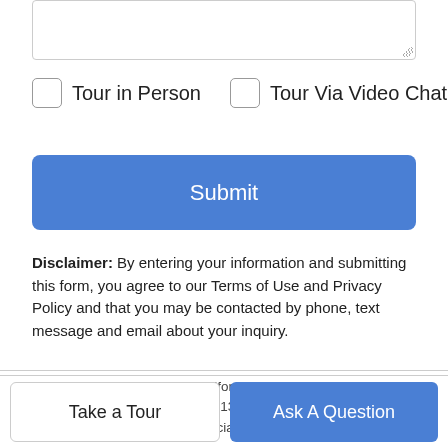[Figure (other): Textarea input field at top of page]
Tour in Person
Tour Via Video Chat
Submit
Disclaimer: By entering your information and submitting this form, you agree to our Terms of Use and Privacy Policy and that you may be contacted by phone, text message and email about your inquiry.
Based on information from California Regional Multiple Listing Service, Inc. as of 2022-09-01T13:45:23.683. This information is for your personal, non-commercial use and may not be used for any purpose other than to identify prospective properties you may be interested in purchasing. Display of MLS data is deemed reliable but is not guaranteed accurate by the MLS or First Team Real Estate. Licensed in the State of California, USA.
Take a Tour
Ask A Question